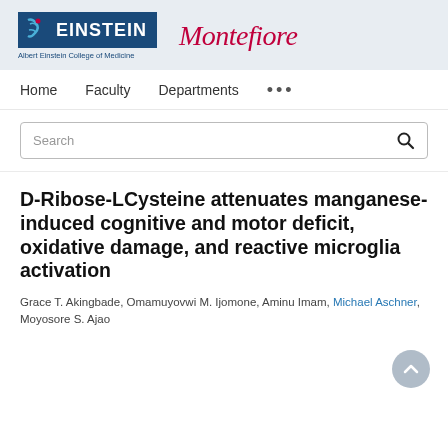[Figure (logo): Albert Einstein College of Medicine logo and Montefiore logo side by side on a light blue-grey header background]
Home   Faculty   Departments   ...
Search
D-Ribose-LCysteine attenuates manganese-induced cognitive and motor deficit, oxidative damage, and reactive microglia activation
Grace T. Akingbade, Omamuyovwi M. Ijomone, Aminu Imam, Michael Aschner, Moyosore S. Ajao